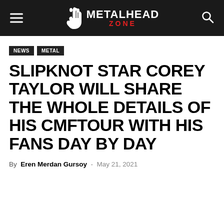METALHEAD ZONE
NEWS  METAL
SLIPKNOT STAR COREY TAYLOR WILL SHARE THE WHOLE DETAILS OF HIS CMFTOUR WITH HIS FANS DAY BY DAY
By Eren Merdan Gursoy - May 21, 2021